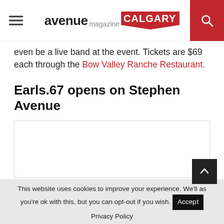avenue magazine CALGARY
even be a live band at the event. Tickets are $69 each through the Bow Valley Ranche Restaurant.
Earls.67 opens on Stephen Avenue
[Figure (photo): Image placeholder / embedded content area (white box with border)]
This website uses cookies to improve your experience. We'll as you're ok with this, but you can opt-out if you wish. Accept Privacy Policy